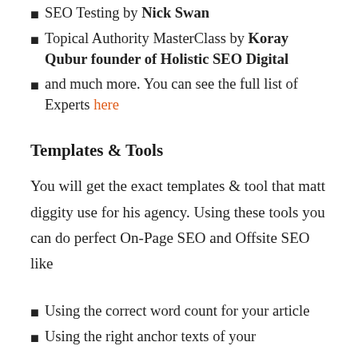SEO Testing by Nick Swan
Topical Authority MasterClass by Koray Qubur founder of Holistic SEO Digital
and much more. You can see the full list of Experts here
Templates & Tools
You will get the exact templates & tool that matt diggity use for his agency. Using these tools you can do perfect On-Page SEO and Offsite SEO like
Using the correct word count for your article
Using the right anchor texts of your...